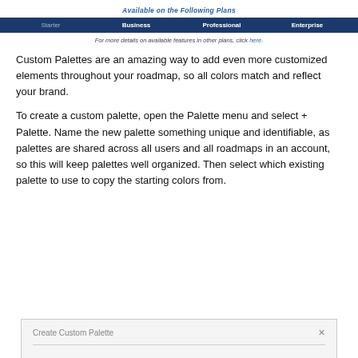Available on the Following Plans
| Starter | Business | Professional | Enterprise |
| --- | --- | --- | --- |
For more details on available features in other plans, click here.
Custom Palettes are an amazing way to add even more customized elements throughout your roadmap, so all colors match and reflect your brand.
To create a custom palette, open the Palette menu and select + Palette. Name the new palette something unique and identifiable, as palettes are shared across all users and all roadmaps in an account, so this will keep palettes well organized. Then select which existing palette to use to copy the starting colors from.
[Figure (screenshot): Create Custom Palette dialog box with close button]